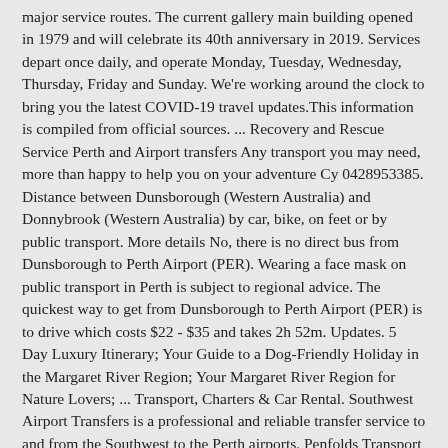major service routes. The current gallery main building opened in 1979 and will celebrate its 40th anniversary in 2019. Services depart once daily, and operate Monday, Tuesday, Wednesday, Thursday, Friday and Sunday. We're working around the clock to bring you the latest COVID-19 travel updates.This information is compiled from official sources. ... Recovery and Rescue Service Perth and Airport transfers Any transport you may need, more than happy to help you on your adventure Cy 0428953385. Distance between Dunsborough (Western Australia) and Donnybrook (Western Australia) by car, bike, on feet or by public transport. More details No, there is no direct bus from Dunsborough to Perth Airport (PER). Wearing a face mask on public transport in Perth is subject to regional advice. The quickest way to get from Dunsborough to Perth Airport (PER) is to drive which costs $22 - $35 and takes 2h 52m. Updates. 5 Day Luxury Itinerary; Your Guide to a Dog-Friendly Holiday in the Margaret River Region; Your Margaret River Region for Nature Lovers; ... Transport, Charters & Car Rental. Southwest Airport Transfers is a professional and reliable transfer service to and from the Southwest to the Perth airports. Penfolds Transport offers a diverse range of transporting services for your business, materials, equipment, gravel and sand, fleet vehicles, and oversized loads in and around Perth and its suburbs. Last updated: 21 Dec 2020 Wearing a face mask on public